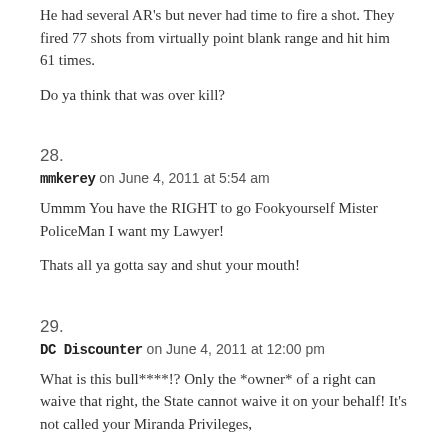He had several AR's but never had time to fire a shot. They fired 77 shots from virtually point blank range and hit him 61 times.
Do ya think that was over kill?
28.
mmkerey on June 4, 2011 at 5:54 am
Ummm You have the RIGHT to go Fookyourself Mister PoliceMan I want my Lawyer!
Thats all ya gotta say and shut your mouth!
29.
DC Discounter on June 4, 2011 at 12:00 pm
What is this bull****!? Only the *owner* of a right can waive that right, the State cannot waive it on your behalf! It's not called your Miranda Privileges,